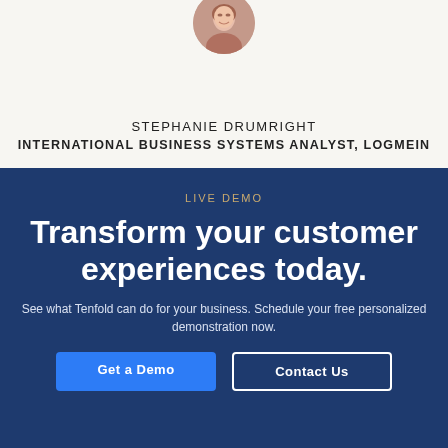[Figure (photo): Circular portrait photo of Stephanie Drumright at the top of the card]
STEPHANIE DRUMRIGHT
INTERNATIONAL BUSINESS SYSTEMS ANALYST, LOGMEIN
LIVE DEMO
Transform your customer experiences today.
See what Tenfold can do for your business. Schedule your free personalized demonstration now.
Get a Demo
Contact Us